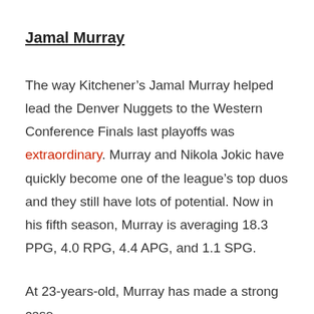Jamal Murray
The way Kitchener’s Jamal Murray helped lead the Denver Nuggets to the Western Conference Finals last playoffs was extraordinary. Murray and Nikola Jokic have quickly become one of the league’s top duos and they still have lots of potential. Now in his fifth season, Murray is averaging 18.3 PPG, 4.0 RPG, 4.4 APG, and 1.1 SPG.
At 23-years-old, Murray has made a strong case